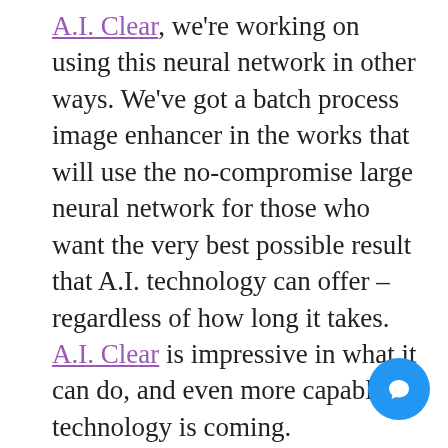A.I. Clear, we're working on using this neural network in other ways. We've got a batch process image enhancer in the works that will use the no-compromise large neural network for those who want the very best possible result that A.I. technology can offer – regardless of how long it takes. A.I. Clear is impressive in what it can do, and even more capable technology is coming.
For now, I am excited to share the new A.I Clear with you. What do you think?
[/vc_column_text][/vc_column][/vc_row